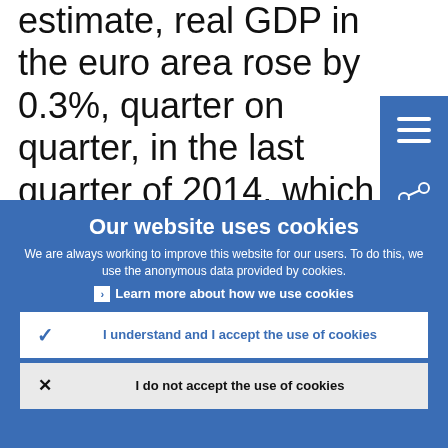estimate, real GDP in the euro area rose by 0.3%, quarter on quarter, in the last quarter of 2014, which was somewhat higher than previously expected. The latest economic data and, particularly, survey evidence
Our website uses cookies
We are always working to improve this website for our users. To do this, we use the anonymous data provided by cookies.
Learn more about how we use cookies
I understand and I accept the use of cookies
I do not accept the use of cookies